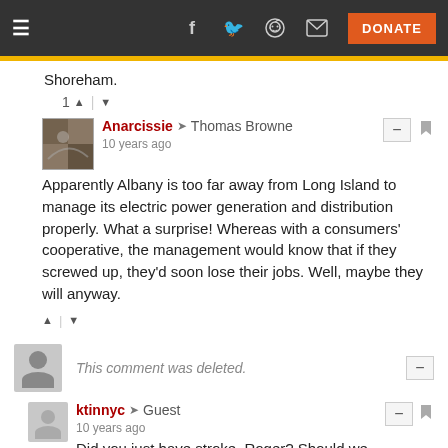Navigation bar with hamburger menu, social icons (Facebook, Twitter, Reddit, Email), and DONATE button
Shoreham.
1 vote up/down
Anarcissie → Thomas Browne
10 years ago
 Apparently Albany is too far away from Long Island to manage its electric power generation and distribution properly.  What a surprise!  Whereas with a consumers' cooperative, the management would know that if they screwed up, they'd soon lose their jobs.  Well, maybe they will anyway.
This comment was deleted.
ktinnyc → Guest
10 years ago
Did you just have stroke, Roger? Should we call an